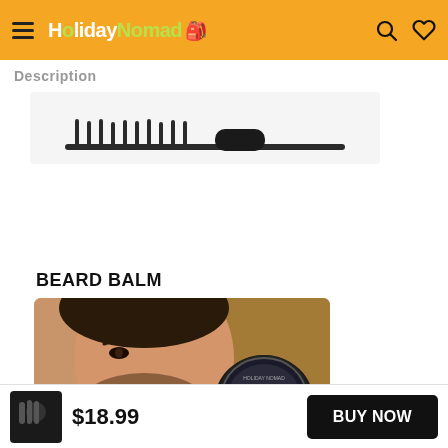HolidayNomad (navigation header with hamburger menu, logo, search and wishlist icons)
Description
[Figure (photo): Partial product image showing a dark comb or brush silhouette on a light background]
BEARD BALM
[Figure (photo): Man with a well-groomed beard holding a round tin of Beard Balm product]
$18.99
BUY NOW